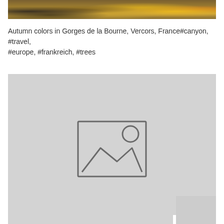[Figure (photo): Top portion of an autumn colors photo in Gorges de la Bourne, Vercors, France — showing rocks, trees with yellow and orange foliage]
Autumn colors in Gorges de la Bourne, Vercors, France#canyon, #travel, #europe, #frankreich, #trees
[Figure (photo): Placeholder image box with image icon (mountain and sun outline) on grey background]
[Figure (photo): Bottom partial strip of another photo, partially visible]